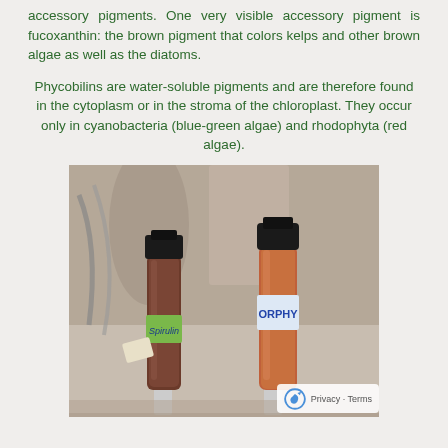accessory pigments. One very visible accessory pigment is fucoxanthin: the brown pigment that colors kelps and other brown algae as well as the diatoms.
Phycobilins are water-soluble pigments and are therefore found in the cytoplasm or in the stroma of the chloroplast. They occur only in cyanobacteria (blue-green algae) and rhodophyta (red algae).
[Figure (photo): Two laboratory vials with dark caps containing colored liquid. The left vial has a green label reading 'Spirulin' and contains dark brownish liquid. The right vial has a white/blue label reading 'ORPHY' and contains reddish-orange liquid. Both vials are positioned on stands against a blurred background.]